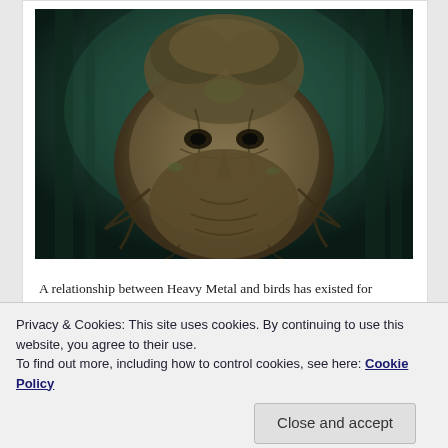[Figure (illustration): A dark fantasy illustration of a humanoid face made of tree bark, roots, and foliage, set against a dark misty forest background. The figure has a beard and features formed from twisted wood and leaves.]
A relationship between Heavy Metal and birds has existed for decades. Representing everything from freedom to patriotism, the mighty eagle has flown free, as high as the sun, and even cried, not to mention appearing in varying
Privacy & Cookies: This site uses cookies. By continuing to use this website, you agree to their use.
To find out more, including how to control cookies, see here: Cookie Policy
Close and accept